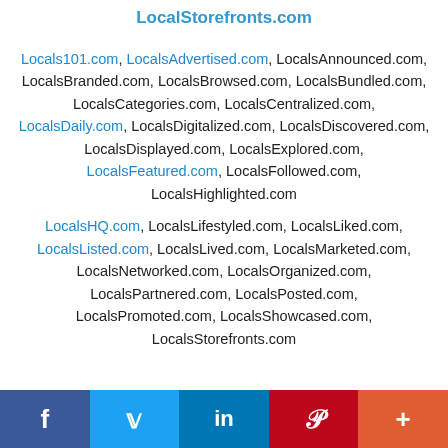LocalStorefronts.com
Locals101.com, LocalsAdvertised.com, LocalsAnnounced.com, LocalsBranded.com, LocalsBrowsed.com, LocalsBundled.com, LocalsCategories.com, LocalsCentralized.com, LocalsDaily.com, LocalsDigitalized.com, LocalsDiscovered.com, LocalsDisplayed.com, LocalsExplored.com, LocalsFeatured.com, LocalsFollowed.com, LocalsHighlighted.com
LocalsHQ.com, LocalsLifestyled.com, LocalsLiked.com, LocalsListed.com, LocalsLived.com, LocalsMarketed.com, LocalsNetworked.com, LocalsOrganized.com, LocalsPartnered.com, LocalsPosted.com, LocalsPromoted.com, LocalsShowcased.com, LocalsStorefronts.com
f | Twitter | in | Pinterest | +